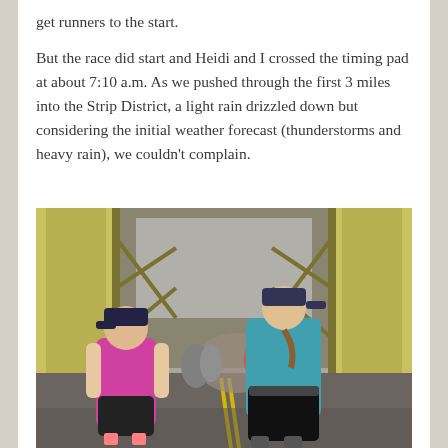get runners to the start.
But the race did start and Heidi and I crossed the timing pad at about 7:10 a.m. As we pushed through the first 3 miles into the Strip District, a light rain drizzled down but considering the initial weather forecast (thunderstorms and heavy rain), we couldn't complain.
[Figure (photo): Runners crossing a yellow steel bridge (appears to be a Pittsburgh bridge) during a road race on a wet, overcast day. Two women are prominent in the foreground — one in a pink sleeveless top and black shorts facing left/toward camera, and one in a teal/blue top and black pants facing away. Many other runners are visible in the background passing through the yellow bridge structure.]